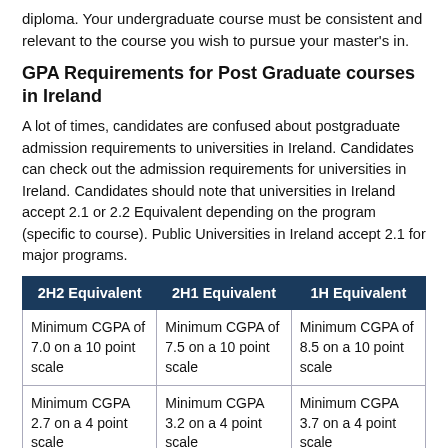diploma. Your undergraduate course must be consistent and relevant to the course you wish to pursue your master's in.
GPA Requirements for Post Graduate courses in Ireland
A lot of times, candidates are confused about postgraduate admission requirements to universities in Ireland. Candidates can check out the admission requirements for universities in Ireland. Candidates should note that universities in Ireland accept 2.1 or 2.2 Equivalent depending on the program (specific to course). Public Universities in Ireland accept 2.1 for major programs.
| 2H2 Equivalent | 2H1 Equivalent | 1H Equivalent |
| --- | --- | --- |
| Minimum CGPA of 7.0 on a 10 point scale | Minimum CGPA of 7.5 on a 10 point scale | Minimum CGPA of 8.5 on a 10 point scale |
| Minimum CGPA 2.7 on a 4 point scale | Minimum CGPA 3.2 on a 4 point scale | Minimum CGPA 3.7 on a 4 point scale |